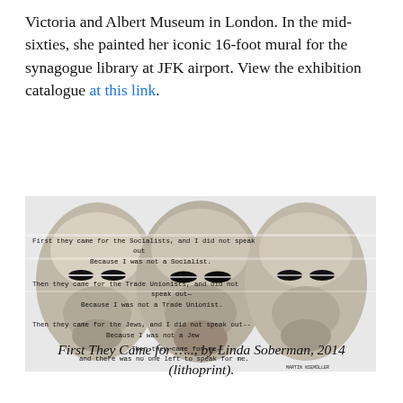Victoria and Albert Museum in London. In the mid-sixties, she painted her iconic 16-foot mural for the synagogue library at JFK airport. View the exhibition catalogue at this link.
[Figure (photo): Black and white lithoprint showing three faces (eyes closed) overlaid with the text of Martin Niemöller's poem 'First they came for the Socialists...' typed in monospace font across the faces.]
First They Came for ….., by Linda Soberman, 2014 (lithoprint).